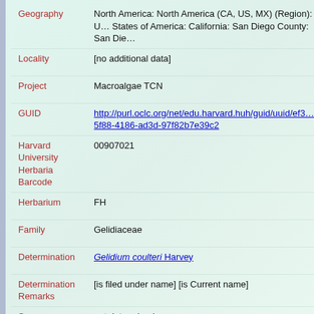| Field | Value |
| --- | --- |
| Geography | North America: North America (CA, US, MX) (Region): United States of America: California: San Diego County: San Die… |
| Locality | [no additional data] |
| Project | Macroalgae TCN |
| GUID | http://purl.oclc.org/net/edu.harvard.huh/guid/uuid/ef3…5f88-4186-ad3d-97f82b7e39c2 |
| Harvard University Herbaria Barcode | 00907021 |
| Herbarium | FH |
| Family | Gelidiaceae |
| Determination | Gelidium coulteri Harvey |
| Determination Remarks | [is filed under name] [is Current name] |
| Sex | not determined |
| Phenology | NotDetermined |
| Preparation Type | Sheet |
| Preparation Method | Pressed |